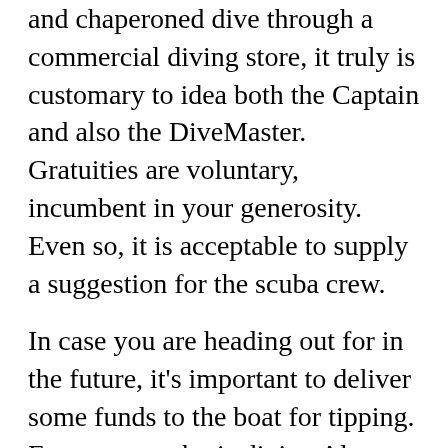and chaperoned dive through a commercial diving store, it truly is customary to idea both the Captain and also the DiveMaster. Gratuities are voluntary, incumbent in your generosity. Even so, it is acceptable to supply a suggestion for the scuba crew.
In case you are heading out for in the future, it's important to deliver some funds to the boat for tipping. For anyone who is diving Along with the same DiveMaster and Captain for a complete week, it is acceptable to offer a idea at the end of the week.
For anyone who is arranging a number of